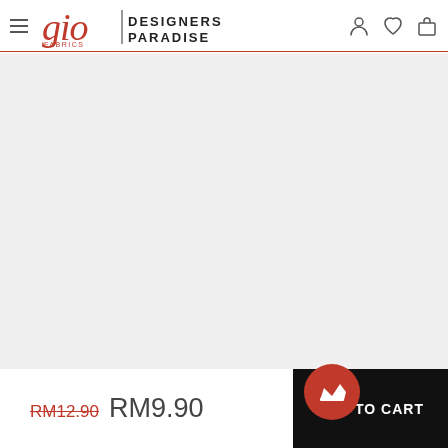Gio Fabrics | Designers Paradise — navigation header with hamburger menu, logo, user icon, wishlist icon, cart icon
[Figure (screenshot): Main product image area — large white/light gray blank content area below the navigation header]
RM12.90  RM9.90
ADD TO CART